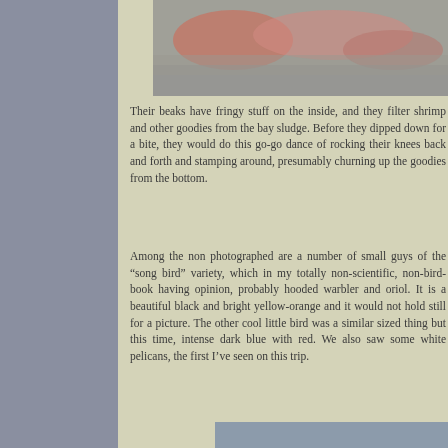[Figure (photo): Aerial or water surface photo showing pink/red reflections on water, likely flamingos or sunset reflection]
Their beaks have fringy stuff on the inside, and they filter shrimp and other goodies from the bay sludge. Before they dipped down for a bite, they would do this go-go dance of rocking their knees back and forth and stamping around, presumably churning up the goodies from the bottom.
Among the non photographed are a number of small guys of the "song bird" variety, which in my totally non-scientific, non-bird-book having opinion, probably hooded warbler and oriol. It is a beautiful black and bright yellow-orange and it would not hold still for a picture. The other cool little bird was a similar sized thing but this time, intense dark blue with red. We also saw some white pelicans, the first I've seen on this trip.
[Figure (photo): Wide landscape photo of a shallow bay or tidal flat with small sandy island with mangroves and overcast sky]